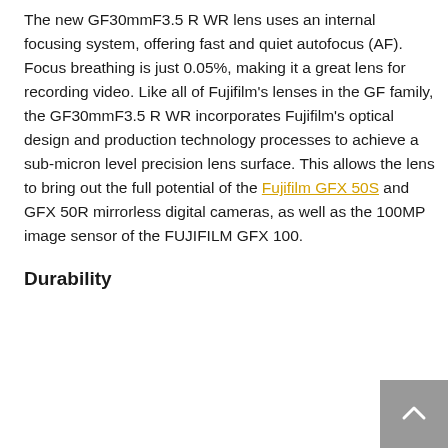The new GF30mmF3.5 R WR lens uses an internal focusing system, offering fast and quiet autofocus (AF). Focus breathing is just 0.05%, making it a great lens for recording video. Like all of Fujifilm's lenses in the GF family, the GF30mmF3.5 R WR incorporates Fujifilm's optical design and production technology processes to achieve a sub-micron level precision lens surface. This allows the lens to bring out the full potential of the Fujifilm GFX 50S and GFX 50R mirrorless digital cameras, as well as the 100MP image sensor of the FUJIFILM GFX 100.
Durability